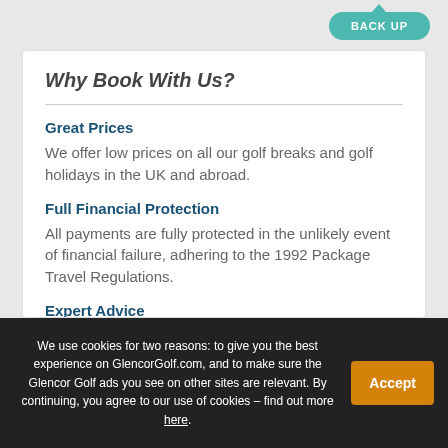BACK UP
Why Book With Us?
Great Prices
We offer low prices on all our golf breaks and golf holidays in the UK and abroad.
Full Financial Protection
All payments are fully protected in the unlikely event of financial failure, adhering to the 1992 Package Travel Regulations.
Expert Advice
Call us and speak to our small team of golfers who have
We use cookies for two reasons: to give you the best experience on GlencorGolf.com, and to make sure the Glencor Golf ads you see on other sites are relevant. By continuing, you agree to our use of cookies – find out more here.